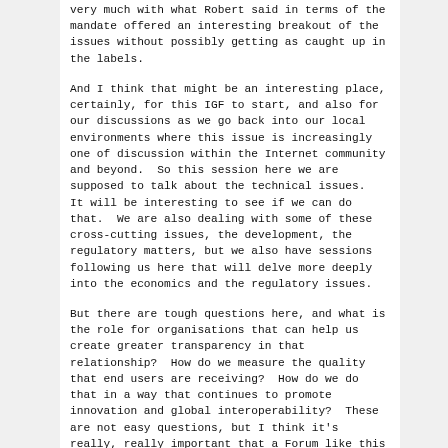very much with what Robert said in terms of the mandate offered an interesting breakout of the issues without possibly getting as caught up in the labels.
And I think that might be an interesting place, certainly, for this IGF to start, and also for our discussions as we go back into our local environments where this issue is increasingly one of discussion within the Internet community and beyond.  So this session here we are supposed to talk about the technical issues.  It will be interesting to see if we can do that.  We are also dealing with some of these cross-cutting issues, the development, the regulatory matters, but we also have sessions following us here that will delve more deeply into the economics and the regulatory issues.
But there are tough questions here, and what is the role for organisations that can help us create greater transparency in that relationship?  How do we measure the quality that end users are receiving?  How do we do that in a way that continues to promote innovation and global interoperability?  These are not easy questions, but I think it's really, really important that a Forum like this that brings all of the different perspectives to the table take this on.
So we are going to lead a discussion here now on the technical issues.  There has been a number of questions that have been raised, and I think they are in the background document here.